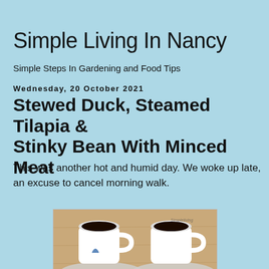Simple Living In Nancy
Simple Steps In Gardening and Food Tips
Wednesday, 20 October 2021
Stewed Duck, Steamed Tilapia & Stinky Bean With Minced Meat
This was another hot and humid day. We woke up late, an excuse to cancel morning walk.
[Figure (photo): Two white coffee mugs with dark coffee on a wooden table with plates, partially cropped at bottom]